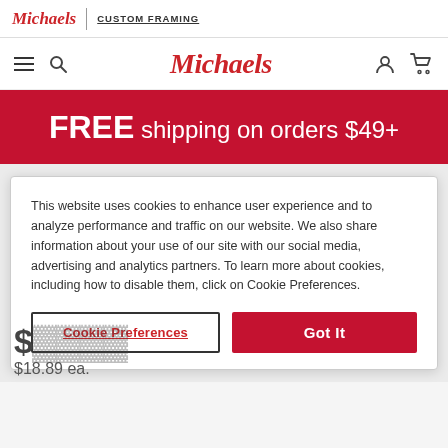Michaels | CUSTOM FRAMING
[Figure (logo): Michaels script logo with CUSTOM FRAMING text in top navigation bar]
[Figure (logo): Michaels main navigation bar with hamburger menu, search icon, Michaels script logo, account icon, and cart icon]
FREE shipping on orders $49+
This website uses cookies to enhance user experience and to analyze performance and traffic on our website. We also share information about your use of our site with our social media, advertising and analytics partners. To learn more about cookies, including how to disable them, click on Cookie Preferences.
Cookie Preferences
Got It
$18.89 ea.